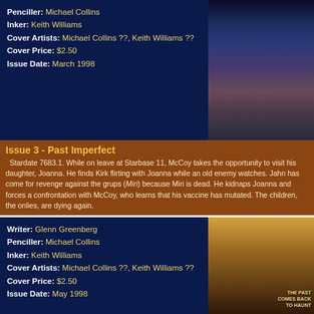Penciller: Michael Collins
Inker: Keith Williams
Cover Artists: Michael Collins ??, Keith Williams ??
Cover Price: $2.50
Issue Date: March 1998
[Figure (illustration): Star Trek Untold Voyages comic book cover issue 2, showing Star Trek characters in gray uniforms against a colorful space background]
Issue 3 - Past Imperfect
Stardate 7683.1. While on leave at Starbase 11, McCoy takes the opportunity to visit his daughter, Joanna. He finds Kirk flirting with Joanna while an old enemy watches. Jahn has come for revenge against the grups (Miri) because Miri is dead. He kidnaps Joanna and forces a confrontation with McCoy, who learns that his vaccine has mutated. The children, the onlies, are dying again.
Writer: Glenn Greenberg
Penciller: Michael Collins
Inker: Keith Williams
Cover Artists: Michael Collins ??, Keith Williams ??
Cover Price: $2.50
Issue Date: May 1998
[Figure (illustration): Star Trek Untold Voyages comic book cover issue 3 Past Imperfect, showing McCoy with a phaser in a desert/cemetery setting, with text THE PAST COMES BACK TO HAUNT]